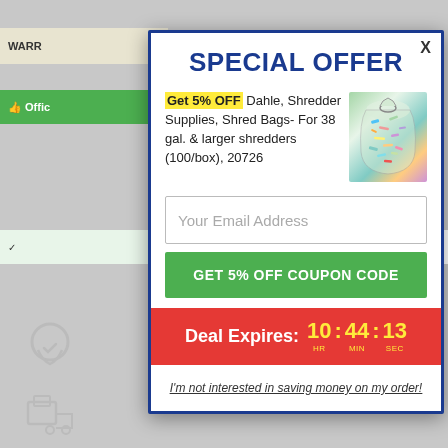SPECIAL OFFER
Get 5% OFF Dahle, Shredder Supplies, Shred Bags- For 38 gal. & larger shredders (100/box), 20726
[Figure (photo): Product photo of a clear plastic bag filled with colorful shredded paper confetti]
Your Email Address
GET 5% OFF COUPON CODE
Deal Expires: 10 : 44 : 13 HR MIN SEC
I'm not interested in saving money on my order!